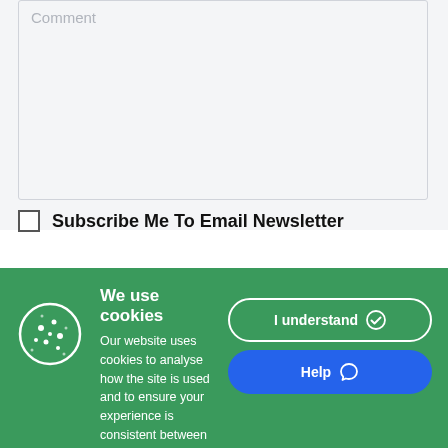Comment (placeholder in textarea)
Subscribe Me To Email Newsletter
[Figure (screenshot): Cookie consent banner with green background, cookie icon, title 'We use cookies', body text, 'I understand' button with checkmark, 'Help' button with speech bubble icon, and 'Learn more' link.]